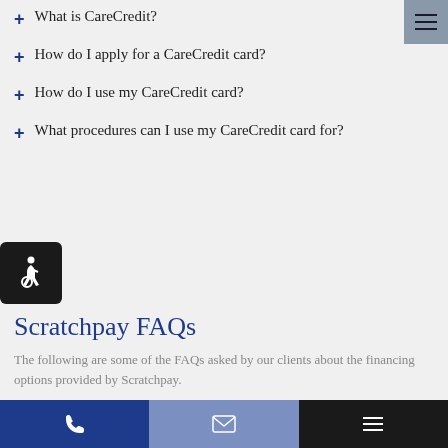+ What is CareCredit?
+ How do I apply for a CareCredit card?
+ How do I use my CareCredit card?
+ What procedures can I use my CareCredit card for?
[Figure (illustration): Accessibility icon button (wheelchair symbol) in black rounded square]
Scratchpay FAQs
The following are some of the FAQs asked by our clients about the financing options provided by Scratchpay.
+ What is Scratchpay?
Phone | Email | Menu navigation bar